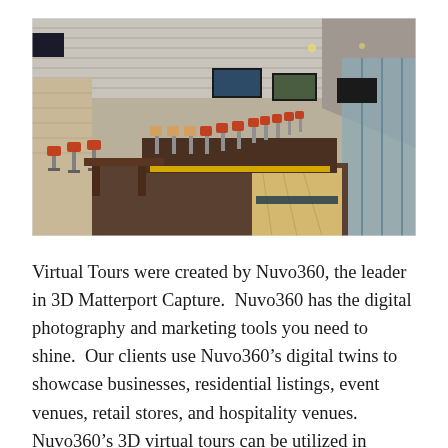[Figure (photo): Interior photo of a bowling alley bar and restaurant with red and wood bar stools along a long counter, bowling lanes visible on the right, TV screens mounted above, brick walls, and large windows on the right side.]
Virtual Tours were created by Nuvo360, the leader in 3D Matterport Capture.  Nuvo360 has the digital photography and marketing tools you need to shine.  Our clients use Nuvo360's digital twins to showcase businesses, residential listings, event venues, retail stores, and hospitality venues. Nuvo360's 3D virtual tours can be utilized in